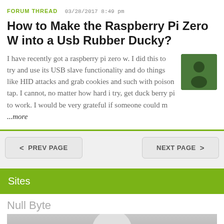FORUM THREAD   03/28/2017 8:49 pm
How to Make the Raspberry Pi Zero W into a Usb Rubber Ducky?
I have recently got a raspberry pi zero w. I did this to try and use its USB slave functionality and do things like HID attacks and grab cookies and such with poison tap. I cannot, no matter how hard i try, get duck berry pi to work. I would be very grateful if someone could m ...more
[Figure (illustration): User avatar icon: dark green rounded square with a silhouette of a person]
< PREV PAGE
NEXT PAGE >
Sites
Null Byte
[Figure (photo): Partial image visible at bottom, grey background with circular shape]